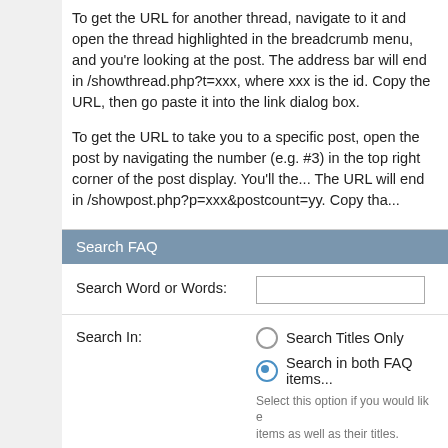To get the URL for another thread, navigate to it and open the thread highlighted in the breadcrumb menu, and you're looking at the post. The address bar will end in /showthread.php?t=xxx, where xxx is the id. Copy the URL, then go paste it into the link dialog box.
To get the URL to take you to a specific post, open the post by navigating the number (e.g. #3) in the top right corner of the post display. You'll then... The URL will end in /showpost.php?p=xxx&postcount=yy. Copy tha...
Search FAQ
Search Word or Words:
Search In:
Search Titles Only
Search in both FAQ item
Select this option if you would like items as well as their titles.
Show only FAQ items that contain...
Any words
All words
Complete phrase
Select an option here to specify h... be treated. 'Any words' will a...